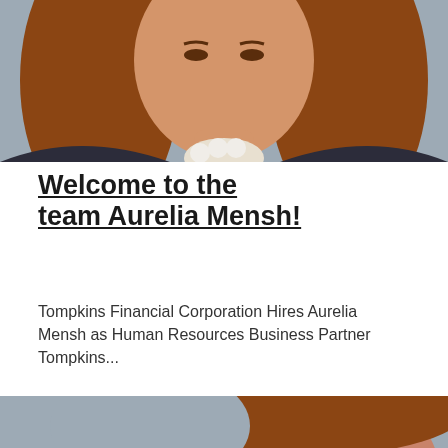[Figure (photo): Professional headshot of Aurelia Mensh, a woman with long reddish-brown hair wearing a dark pinstripe blazer and white floral necklace, photographed against a grey background. Upper portion of image visible (cropped at top).]
Welcome to the team Aurelia Mensh!
Tompkins Financial Corporation Hires Aurelia Mensh as Human Resources Business Partner Tompkins...
Read More →
[Figure (photo): Professional headshot of a woman with shoulder-length reddish-brown curly hair, photographed against a grey background. Only the upper face/forehead area visible (cropped).]